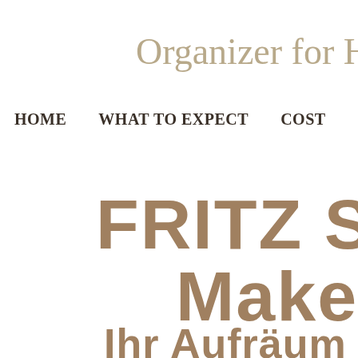Organizer for Ho
HOME   WHAT TO EXPECT   COST   CONTACT
FRITZ Spac Maker
Ihr Aufräum Coach